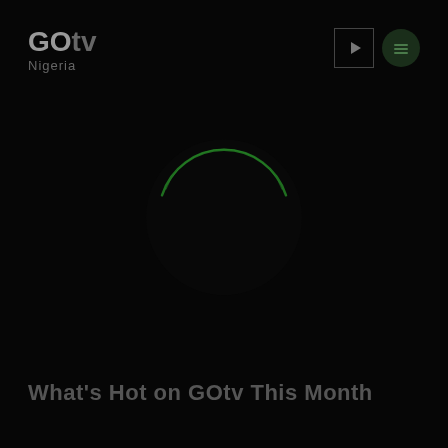[Figure (logo): GOtv Nigeria logo in grey tones on black background]
[Figure (illustration): Top right icons: a square icon with play symbol and a circular menu icon on dark background]
[Figure (illustration): Dark circular shape with green glowing top arc, centered on black background]
What's Hot on GOtv This Month